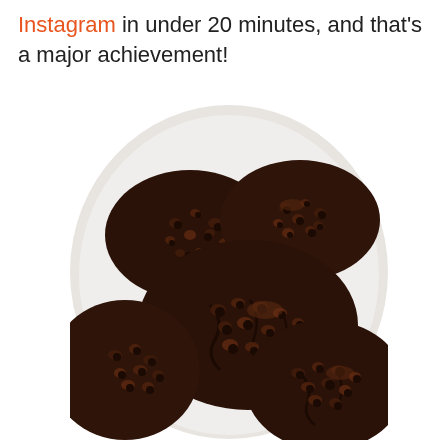Instagram in under 20 minutes, and that's a major achievement!
[Figure (photo): Close-up photograph of several dark chocolate chip cookies piled on a white plate, showing crinkled, fudgy texture with visible chocolate chips on top.]